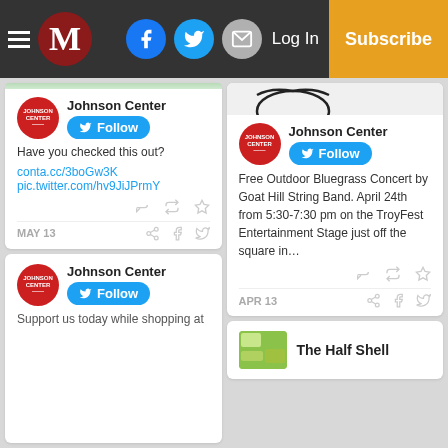M  Log In  Subscribe
[Figure (screenshot): Tweet card from Johnson Center: 'Have you checked this out? conta.cc/3boGw3K pic.twitter.com/hv9JiJPrmY' dated MAY 13]
[Figure (screenshot): Tweet card from Johnson Center: 'Free Outdoor Bluegrass Concert by Goat Hill String Band. April 24th from 5:30-7:30 pm on the TroyFest Entertainment Stage just off the square in...' dated APR 13]
[Figure (screenshot): Partial tweet card from Johnson Center: 'Support us today while shopping at...']
[Figure (screenshot): Card for The Half Shell]